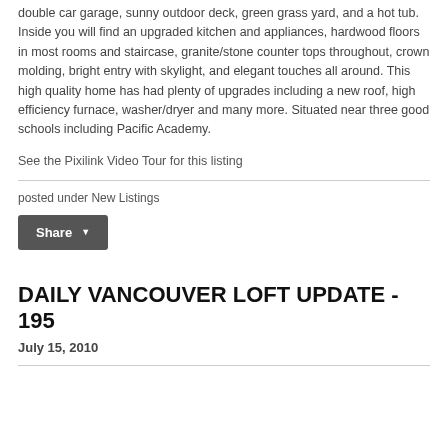double car garage, sunny outdoor deck, green grass yard, and a hot tub. Inside you will find an upgraded kitchen and appliances, hardwood floors in most rooms and staircase, granite/stone counter tops throughout, crown molding, bright entry with skylight, and elegant touches all around. This high quality home has had plenty of upgrades including a new roof, high efficiency furnace, washer/dryer and many more. Situated near three good schools including Pacific Academy.
See the Pixilink Video Tour for this listing
posted under New Listings
[Figure (other): Share button with dropdown arrow]
DAILY VANCOUVER LOFT UPDATE - 195
July 15, 2010